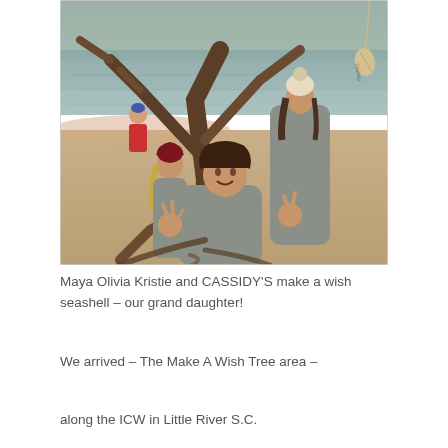[Figure (photo): Outdoor photo of three girls/women near a large tree by a river or waterway. The person in front is smiling and making hand gestures (peace/rock signs), wearing a grey fuzzy hoodie. Behind her is another person in a grey fuzzy wrap and cream pom-pom beanie. To the left is a younger person in a dark red beanie and grey fuzzy top. In the background is a person in a red jacket. A seashell hangs from the tree on the upper right. Sandy ground with exposed roots visible.]
Maya Olivia Kristie and CASSIDY'S make a wish seashell – our grand daughter!
We arrived – The Make A Wish Tree area –
along the ICW in Little River S.C.